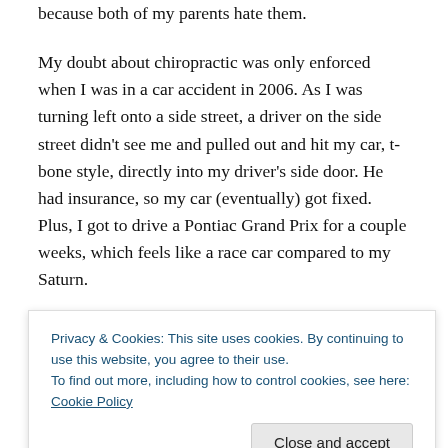because both of my parents hate them.
My doubt about chiropractic was only enforced when I was in a car accident in 2006. As I was turning left onto a side street, a driver on the side street didn't see me and pulled out and hit my car, t-bone style, directly into my driver's side door. He had insurance, so my car (eventually) got fixed. Plus, I got to drive a Pontiac Grand Prix for a couple weeks, which feels like a race car compared to my Saturn.
One of my co-workers bugged me to go see a chiropractor, because after the accident, I had a problem
Privacy & Cookies: This site uses cookies. By continuing to use this website, you agree to their use.
To find out more, including how to control cookies, see here: Cookie Policy
questions, the he told me I would have to come in 3 times